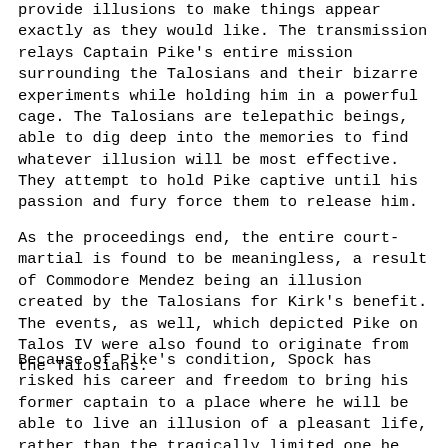provide illusions to make things appear exactly as they would like. The transmission relays Captain Pike's entire mission surrounding the Talosians and their bizarre experiments while holding him in a powerful cage. The Talosians are telepathic beings, able to dig deep into the memories to find whatever illusion will be most effective. They attempt to hold Pike captive until his passion and fury force them to release him.
As the proceedings end, the entire court-martial is found to be meaningless, a result of Commodore Mendez being an illusion created by the Talosians for Kirk's benefit. The events, as well, which depicted Pike on Talos IV were also found to originate from the Talosians.
Because of Pike's condition, Spock has risked his career and freedom to bring his former captain to a place where he will be able to live an illusion of a pleasant life, rather than the tragically limited one he lives now. Kirk allows Pike to beam down to Talos IV and allows an acquittal. Spock submits...